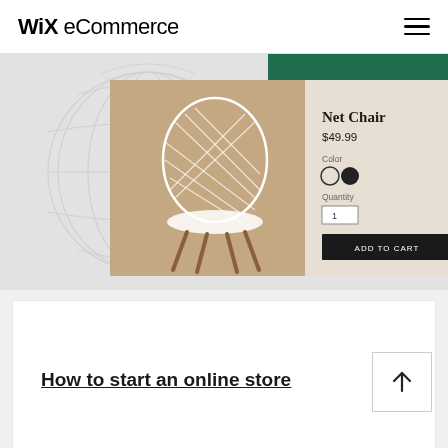Wix eCommerce
[Figure (screenshot): Wix eCommerce product page screenshot showing a white net chair product listing with price $49.99, color options, quantity selector, and Add to Cart button on a green and beige background]
How to start an online store
[Figure (other): Back to top arrow button]